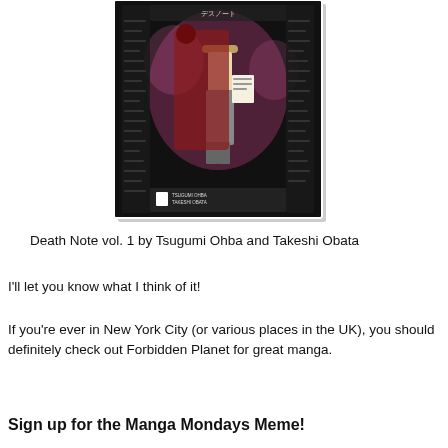[Figure (illustration): Cover of Death Note vol. 1 manga — dark background with Japanese text, featuring anime characters including Light Yagami, with volume number 1 and author credits for Tsugumi Ohba and Takeshi Obata at the bottom.]
Death Note vol. 1 by Tsugumi Ohba and Takeshi Obata
I'll let you know what I think of it!
If you're ever in New York City (or various places in the UK), you should definitely check out Forbidden Planet for great manga.
Sign up for the Manga Mondays Meme!